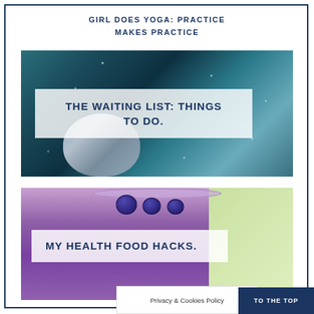GIRL DOES YOGA: PRACTICE MAKES PRACTICE
[Figure (photo): Dark glittery teal background with a watch/clock shape at the bottom, overlaid with a semi-transparent white box containing the text THE WAITING LIST: THINGS TO DO.]
[Figure (photo): Purple blueberry smoothie in a glass topped with fresh blueberries, with a green/yellow background on the right side, overlaid with a semi-transparent white box containing the text MY HEALTH FOOD HACKS.]
Privacy & Cookies Policy
TO THE TOP